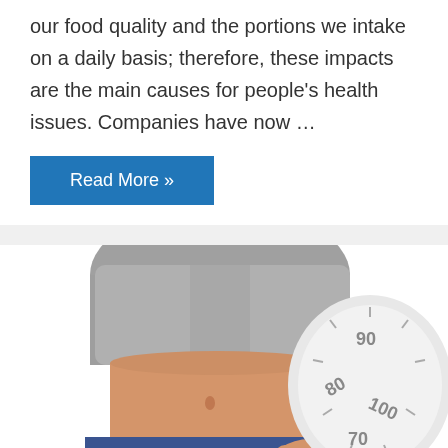our food quality and the portions we intake on a daily basis; therefore, these impacts are the main causes for people's health issues. Companies have now …
Read More »
[Figure (photo): A person in a grey t-shirt pulling out the waistband of oversized jeans, with a circular bathroom scale showing numbers 70, 80, 90, 100 visible in the background on the right side.]